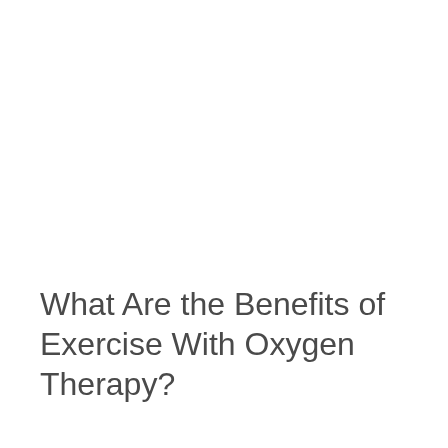What Are the Benefits of Exercise With Oxygen Therapy?